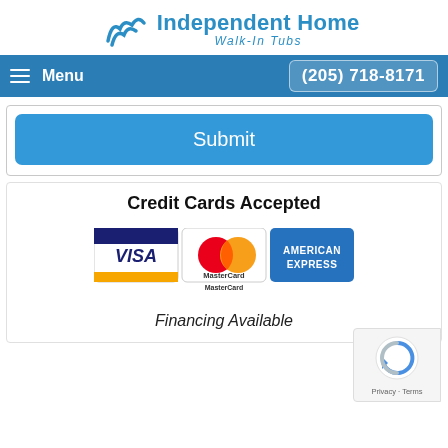[Figure (logo): Independent Home Walk-In Tubs logo with wave icon in blue]
≡  Menu    (205) 718-8171
[Figure (screenshot): Submit button - blue rounded rectangle with white text 'Submit']
Credit Cards Accepted
[Figure (illustration): Three credit card logos: Visa, MasterCard, American Express]
[Figure (illustration): reCAPTCHA badge with Privacy - Terms text]
Financing Available